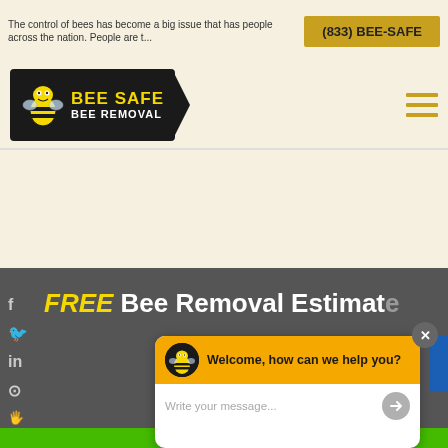The control of bees has become a big issue that has people across the nation. People are t...
[Figure (logo): Bee Safe Bee Removal logo with cartoon bee on black background with yellow arrow]
(833) BEE-SAFE
FREE Bee Removal Estimate
[Figure (screenshot): Chat popup widget with golden header showing Bee Safe logo and 'Welcome, how can we help you?' message and text input area]
Welcome, how can we help you?
Write your message...
Get Free Estimate Now!